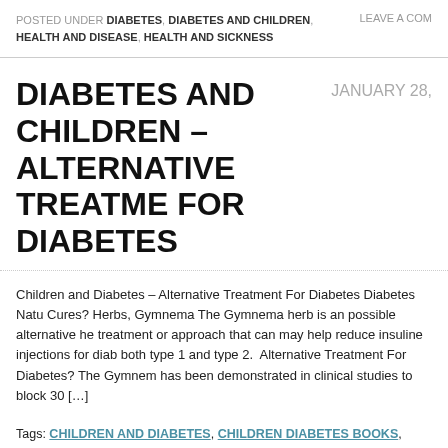POSTED UNDER DIABETES, DIABETES AND CHILDREN, HEALTH AND DISEASE, HEALTH AND SICKNESS    LEAVE A COM
DIABETES AND CHILDREN – ALTERNATIVE TREATMENTS FOR DIABETES
Children and Diabetes – Alternative Treatment For Diabetes Diabetes Natu Cures? Herbs, Gymnema The Gymnema herb is an possible alternative he treatment or approach that can may help reduce insuline injections for diab both type 1 and type 2.  Alternative Treatment For Diabetes? The Gymnem has been demonstrated in clinical studies to block 30 […]
Tags: CHILDREN AND DIABETES, CHILDREN DIABETES BOOKS, CHILDREN WITH DIABETES BOOKS, COW MILK AND DIABETES, DIABETES AND AFRICAN AMERICAN CHILDREN, DIABETES AND CHILDREN, DIABETES AND COW MILK, DIABETES AND FAST FOOD, DIABETES AVOIDANCE, DIABETES CURE, DIABETES PREVENTION